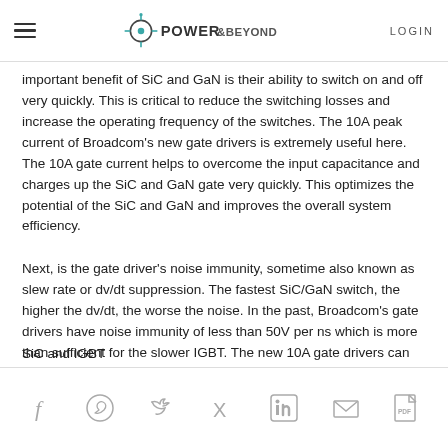POWER&BEYOND | LOGIN
important benefit of SiC and GaN is their ability to switch on and off very quickly. This is critical to reduce the switching losses and increase the operating frequency of the switches. The 10A peak current of Broadcom's new gate drivers is extremely useful here. The 10A gate current helps to overcome the input capacitance and charges up the SiC and GaN gate very quickly. This optimizes the potential of the SiC and GaN and improves the overall system efficiency.
Next, is the gate driver's noise immunity, sometime also known as slew rate or dv/dt suppression. The fastest SiC/GaN switch, the higher the dv/dt, the worse the noise. In the past, Broadcom's gate drivers have noise immunity of less than 50V per ns which is more than sufficient for the slower IGBT. The new 10A gate drivers can guarantee a noise immunity of more than 100kV/us.
SiC and IGBT...
Social share icons: Facebook, WhatsApp, Twitter, Xing, LinkedIn, Email, PDF